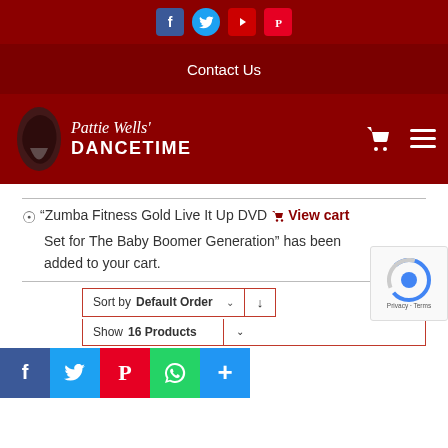Social icons: Facebook, Twitter, YouTube, Pinterest
Contact Us
[Figure (logo): Pattie Wells' DANCETIME logo with dancing couple silhouette]
"Zumba Fitness Gold Live It Up DVD Set for The Baby Boomer Generation" has been added to your cart.
View cart
Sort by Default Order
Show 16 Products